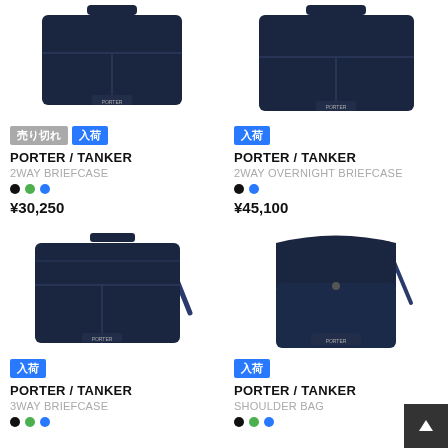[Figure (photo): Navy Porter/Tanker 2WAY Briefcase bag photo (top cropped)]
売り切れ  入荷
PORTER / TANKER
2WAY BRIEFCASE
¥30,250
[Figure (photo): Navy Porter/Tanker 2WAY Overnight Briefcase bag photo (top cropped)]
入荷
PORTER / TANKER
2WAY OVERNIGHT BRIEFCASE
¥45,100
[Figure (photo): Navy Porter/Tanker 3WAY Briefcase bag photo]
入荷
PORTER / TANKER
3WAY BRIEFCASE
[Figure (photo): Navy Porter/Tanker Shoulder Bag photo]
入荷
PORTER / TANKER
SHOULDER BAG